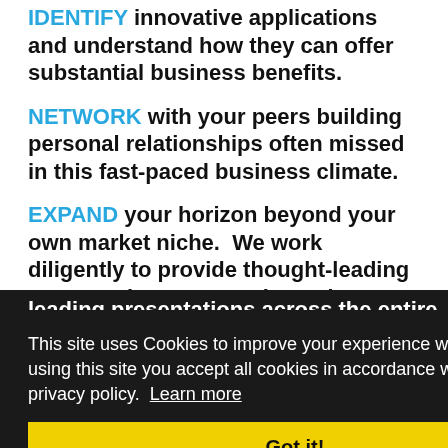IDENTIFY innovative applications and understand how they can offer substantial business benefits.
NETWORK with your peers building personal relationships often missed in this fast-paced business climate.
EXPAND your horizon beyond your own market niche.  We work diligently to provide thought-leading presentations across the entire pa...e our d...g th...through packaging innovation.
This site uses Cookies to improve your experience while here. By using this site you accept all cookies in accordance with our privacy policy.  Learn more
Got it!
REGISTRATION IS NOW OPEN